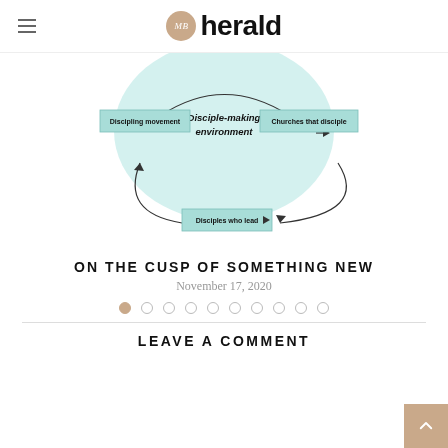MB herald
[Figure (flowchart): Circular diagram showing three connected nodes with arrows: 'Disciple-making environment' (center circle, teal), connected to 'Discipling movement' (left box), 'Churches that disciple' (right box), and 'Disciples who lead' (bottom box), forming a cycle with curved arrows.]
ON THE CUSP OF SOMETHING NEW
November 17, 2020
Pagination dots: 1 active, 9 inactive
LEAVE A COMMENT